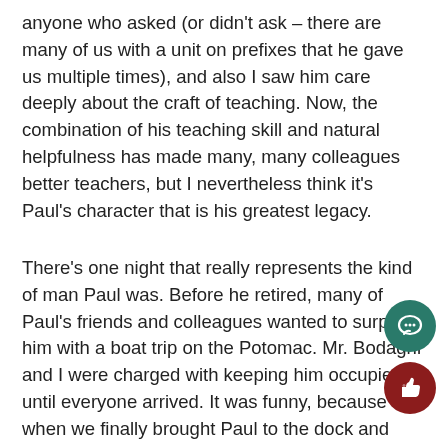anyone who asked (or didn't ask – there are many of us with a unit on prefixes that he gave us multiple times), and also I saw him care deeply about the craft of teaching. Now, the combination of his teaching skill and natural helpfulness has made many, many colleagues better teachers, but I nevertheless think it's Paul's character that is his greatest legacy.
There's one night that really represents the kind of man Paul was. Before he retired, many of Paul's friends and colleagues wanted to surprise him with a boat trip on the Potomac. Mr. Bodaghi and I were charged with keeping him occupied until everyone arrived. It was funny, because when we finally brought Paul to the dock and everyone shouted his name, he just stopped right in his tracks. I can't say for sure what going through his head, but at the time it seemed to me that he just couldn't believe it. I don't think he ever would have thought that so many people would come out just for him.